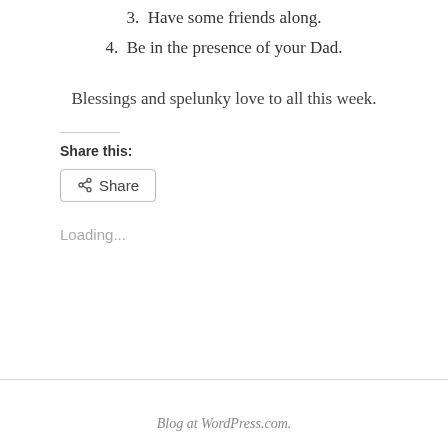3.  Have some friends along.
4.  Be in the presence of your Dad.
Blessings and spelunky love to all this week.
Share this:
Share
Loading...
Blog at WordPress.com.